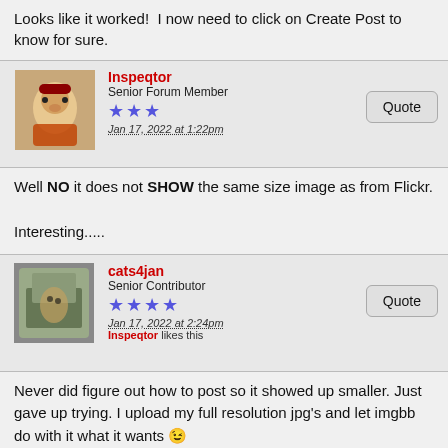Looks like it worked!  I now need to click on Create Post to know for sure.
Inspeqtor
Senior Forum Member
★★★
Jan 17, 2022 at 1:22pm
Well NO it does not SHOW the same size image as from Flickr.

Interesting.....
cats4jan
Senior Contributor
★★★★
Jan 17, 2022 at 2:24pm
Inspeqtor likes this
Never did figure out how to post so it showed up smaller. Just gave up trying. I upload my full resolution jpg's and let imgbb do with it what it wants 😉
hmca
Administrator
★★★★★